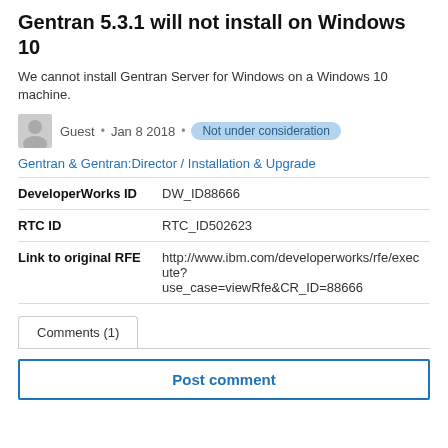Gentran 5.3.1 will not install on Windows 10
We cannot install Gentran Server for Windows on a Windows 10 machine.
Guest • Jan 8 2018 • Not under consideration
Gentran & Gentran:Director / Installation & Upgrade
| Field | Value |
| --- | --- |
| DeveloperWorks ID | DW_ID88666 |
| RTC ID | RTC_ID502623 |
| Link to original RFE | http://www.ibm.com/developerworks/rfe/execute?use_case=viewRfe&CR_ID=88666 |
Comments (1)
Post comment